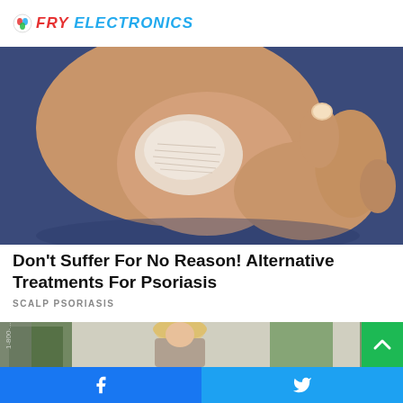FRY ELECTRONICS
[Figure (photo): Close-up photo of a person's elbow showing a psoriasis skin lesion, with a hand grasping the elbow. The person is wearing a dark blue top. The lesion appears as a whitish scaly patch on the elbow.]
Don't Suffer For No Reason! Alternative Treatments For Psoriasis
SCALP PSORIASIS
[Figure (photo): Partially visible photo of a blonde woman smiling, surrounded by green plants and trees, with a green scroll-to-top button overlay in the bottom right corner.]
Facebook share | Twitter share